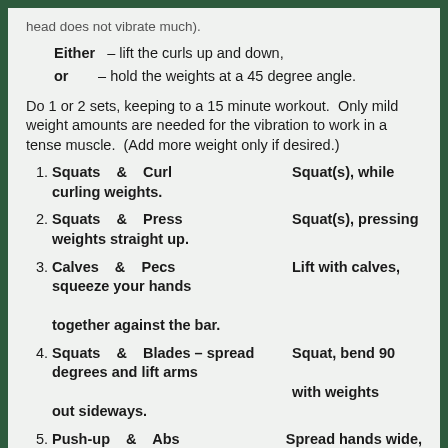head does not vibrate much).
Either – lift the curls up and down,
or – hold the weights at a 45 degree angle.
Do 1 or 2 sets, keeping to a 15 minute workout. Only mild weight amounts are needed for the vibration to work in a tense muscle. (Add more weight only if desired.)
1. Squats & Curl curling weights. | Squat(s), while
2. Squats & Press weights straight up. | Squat(s), pressing
3. Calves & Pecs squeeze your hands together against the bar. | Lift with calves,
4. Squats & Blades – spread degrees and lift arms out sideways. | Squat, bend 90 with weights
5. Push-up & Abs | Spread hands wide,